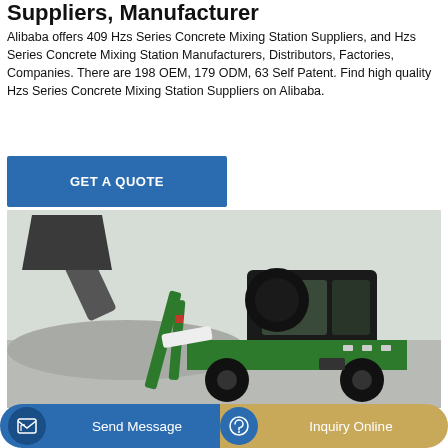Suppliers, Manufacturer
Alibaba offers 409 Hzs Series Concrete Mixing Station Suppliers, and Hzs Series Concrete Mixing Station Manufacturers, Distributors, Factories, Companies. There are 198 OEM, 179 ODM, 63 Self Patent. Find high quality Hzs Series Concrete Mixing Station Suppliers on Alibaba.
[Figure (other): Blue 'GET A QUOTE' button]
[Figure (photo): Green and black concrete mixing machine (self-loading concrete mixer) on a gravel site, with a large bucket raised, photographed outdoors.]
[Figure (other): Bottom navigation bar with 'Send Message' button (blue) and 'Inquiry Online' button (tan/gold)]